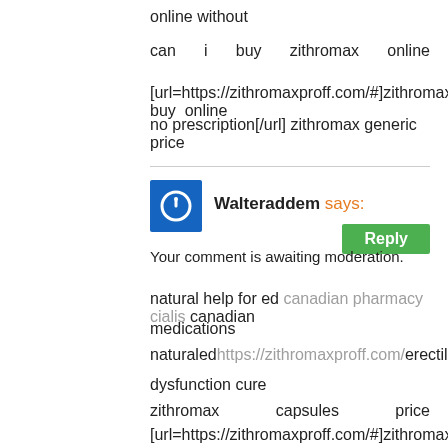online without
can i buy zithromax online
[url=https://zithromaxproff.com/#]zithromax buy online no prescription[/url] zithromax generic price
Walteraddem says:
Your comment is awaiting moderation.
natural help for ed canadian pharmacy cialis canadian medications
natural ed https://zithromaxproff.com/ erectile dysfunction cure
zithromax capsules price [url=https://zithromaxproff.com/#]zithromax 500 price[/url] where to buy zithromax in canada